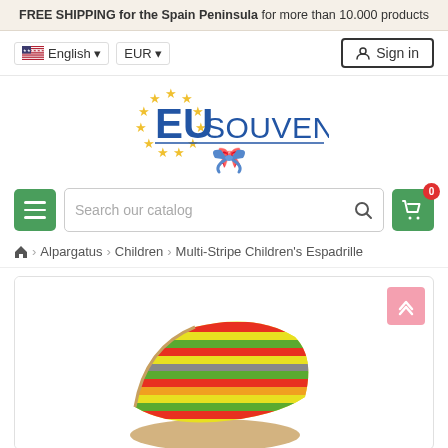FREE SHIPPING for the Spain Peninsula for more than 10.000 products
English EUR Sign in
[Figure (logo): EU Souvenirs logo with golden EU stars ring and blue bow]
Search our catalog
Home > Alpargatus > Children > Multi-Stripe Children's Espadrille
[Figure (photo): Multi-stripe children's espadrille shoe with colorful horizontal stripes]